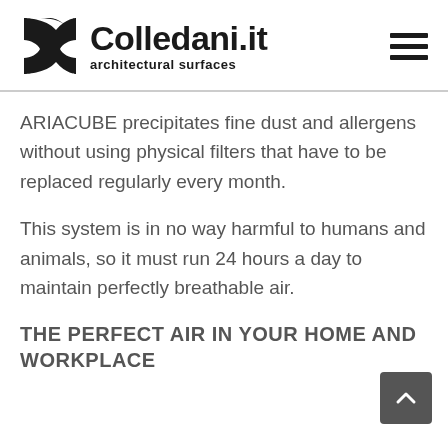[Figure (logo): Colledani.it architectural surfaces logo with stylized X/C icon and hamburger menu icon]
ARIACUBE precipitates fine dust and allergens without using physical filters that have to be replaced regularly every month.
This system is in no way harmful to humans and animals, so it must run 24 hours a day to maintain perfectly breathable air.
THE PERFECT AIR IN YOUR HOME AND WORKPLACE